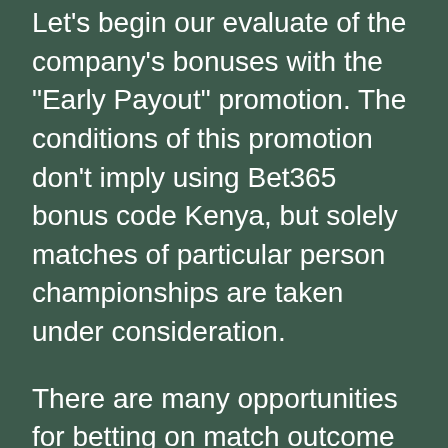Let's begin our evaluate of the company's bonuses with the “Early Payout” promotion. The conditions of this promotion don’t imply using Bet365 bonus code Kenya, but solely matches of particular person championships are taken under consideration.
There are many opportunities for betting on match outcome prediction and staff wins. In conclusion, the Bet365 English bookmaker office stands out from the competitors with its in depth betting line and other options. In Kenya, you can access the location using the